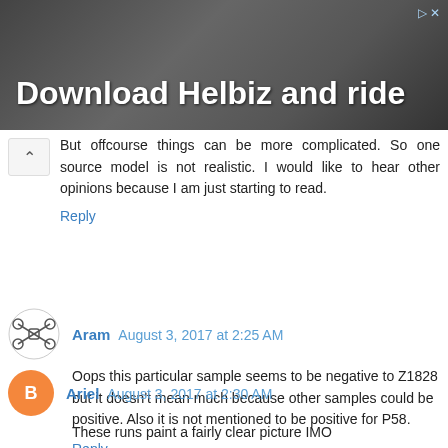[Figure (photo): Advertisement banner with dark photo background showing a person with camera equipment, text 'Download Helbiz and ride' in white bold font]
But offcourse things can be more complicated. So one source model is not realistic. I would like to hear other opinions because I am just starting to read.
Reply
Aram August 3, 2017 at 2:25 AM
Oops this particular sample seems to be negative to Z1828 but it doesn't mean much because other samples could be positive. Also it is not mentioned to be positive for P58.
Reply
Ariel August 3, 2017 at 2:30 AM
These runs paint a fairly clear picture IMO